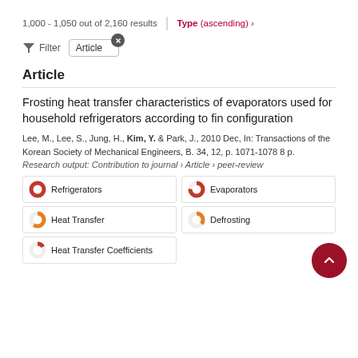1,000 - 1,050 out of 2,160 results | Type (ascending) >
Filter  Article
Article
Frosting heat transfer characteristics of evaporators used for household refrigerators according to fin configuration
Lee, M., Lee, S., Jung, H., Kim, Y. & Park, J., 2010 Dec, In: Transactions of the Korean Society of Mechanical Engineers, B. 34, 12, p. 1071-1078 8 p.
Research output: Contribution to journal › Article › peer-review
[Figure (infographic): Keyword badges with donut chart icons: Refrigerators (100%), Evaporators (~75%), Heat Transfer (~60%), Defrosting (~35%), Heat Transfer Coefficients (~15%)]